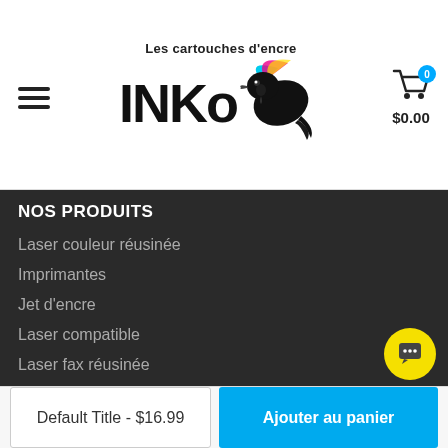[Figure (logo): INKO les cartouches d'encre logo with a hummingbird and CMYK colors]
NOS PRODUITS
Laser couleur réusinée
Imprimantes
Jet d'encre
Laser compatible
Laser fax réusinée
Laser monochrome réusinée
Cartes-cadeaux
Ruban
Default Title - $16.99
Ajouter au panier